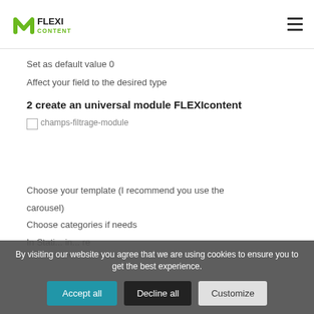FlexiContent logo and navigation menu
Set as default value 0
Affect your field to the desired type
2 create an universal module FLEXIcontent
[Figure (screenshot): champs-filtrage-module image placeholder]
Choose your template (I recommend you use the carousel)
Choose categories if needs
In Stati... in... re
By visiting our website you agree that we are using cookies to ensure you to get the best experience.